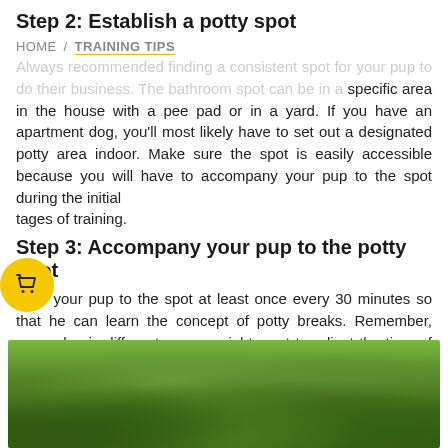Step 2: Establish a potty spot
HOME / TRAINING TIPS
Always recommended finding a consistent spot for your pup to do their business. The bathroom spot can be in a specific area in the house with a pee pad or in a yard. If you have an apartment dog, you'll most likely have to set out a designated potty area indoor. Make sure the spot is easily accessible because you will have to accompany your pup to the spot during the initial stages of training.
Step 3: Accompany your pup to the potty spot
Take your pup to the spot at least once every 30 minutes so that he can learn the concept of potty breaks. Remember, every dog is different so you might want to adjust the time of potty breaks accordingly.
[Figure (photo): Close-up photo of green grass lawn]